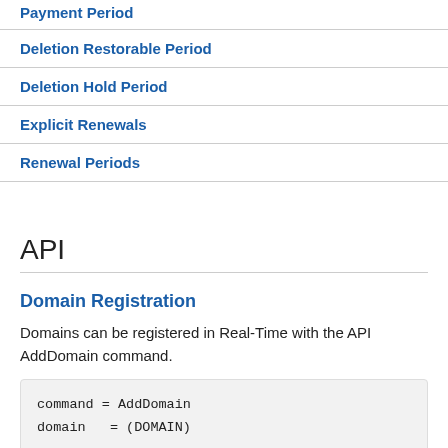Payment Period
Deletion Restorable Period
Deletion Hold Period
Explicit Renewals
Renewal Periods
API
Domain Registration
Domains can be registered in Real-Time with the API AddDomain command.
command = AddDomain
domain   = (DOMAIN)
REQUIRED
ownercontact0 = (CONTACT)
admincontact0 = (CONTACT)